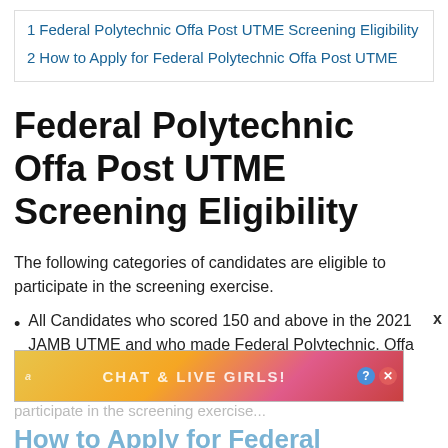1 Federal Polytechnic Offa Post UTME Screening Eligibility
2 How to Apply for Federal Polytechnic Offa Post UTME
Federal Polytechnic Offa Post UTME Screening Eligibility
The following categories of candidates are eligible to participate in the screening exercise.
All Candidates who scored 150 and above in the 2021 JAMB UTME and who made Federal Polytechnic, Offa as their first choice institution are eligible to participate in the screening exercise.
How to Apply for Federal Polytechnic Offa